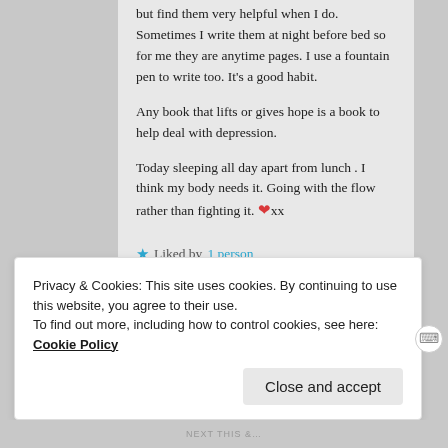but find them very helpful when I do. Sometimes I write them at night before bed so for me they are anytime pages. I use a fountain pen to write too. It’s a good habit.
Any book that lifts or gives hope is a book to help deal with depression.
Today sleeping all day apart from lunch . I think my body needs it. Going with the flow rather than fighting it. ❤xx
★ Liked by 1 person
Privacy & Cookies: This site uses cookies. By continuing to use this website, you agree to their use.
To find out more, including how to control cookies, see here: Cookie Policy
Close and accept